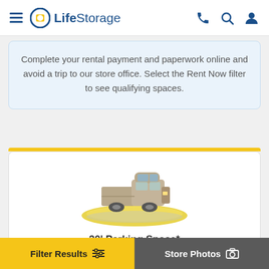LifeStorage
Complete your rental payment and paperwork online and avoid a trip to our store office. Select the Rent Now filter to see qualifying spaces.
[Figure (illustration): Isometric illustration of a pickup truck parked on a yellow parking space]
20' Parking Space*
Filter Results | Store Photos